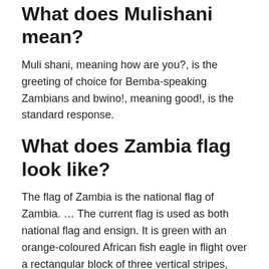What does Mulishani mean?
Muli shani, meaning how are you?, is the greeting of choice for Bemba-speaking Zambians and bwino!, meaning good!, is the standard response.
What does Zambia flag look like?
The flag of Zambia is the national flag of Zambia. … The current flag is used as both national flag and ensign. It is green with an orange-coloured African fish eagle in flight over a rectangular block of three vertical stripes, coloured, from left to right: red, black and orange.